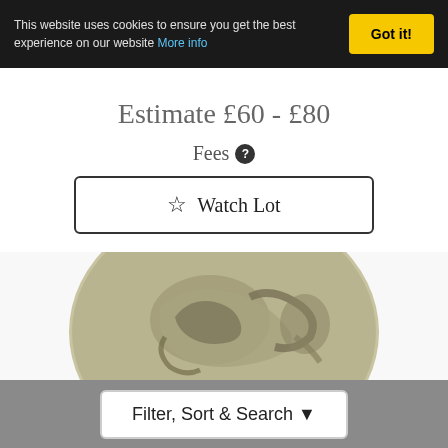This website uses cookies to ensure you get the best experience on our website More info
Got it!
Estimate £60 - £80
Fees ?
☆ Watch Lot
[Figure (photo): Close-up photograph of an ancient silver coin showing a stylized horse or animal figure with ornate curved patterns]
Filter, Sort & Search ▼